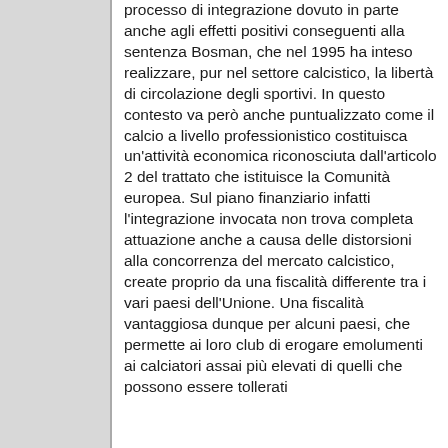processo di integrazione dovuto in parte anche agli effetti positivi conseguenti alla sentenza Bosman, che nel 1995 ha inteso realizzare, pur nel settore calcistico, la libertà di circolazione degli sportivi. In questo contesto va però anche puntualizzato come il calcio a livello professionistico costituisca un'attività economica riconosciuta dall'articolo 2 del trattato che istituisce la Comunità europea. Sul piano finanziario infatti l'integrazione invocata non trova completa attuazione anche a causa delle distorsioni alla concorrenza del mercato calcistico, create proprio da una fiscalità differente tra i vari paesi dell'Unione. Una fiscalità vantaggiosa dunque per alcuni paesi, che permette ai loro club di erogare emolumenti ai calciatori assai più elevati di quelli che possono essere tollerati